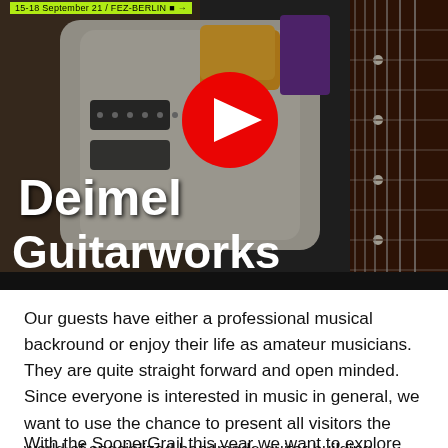15-18 September 21 / FEZ-BERLIN ■ →
[Figure (photo): YouTube video thumbnail showing Deimel Guitarworks electric guitars with white body and fretboard detail, with a YouTube play button overlay and the text 'Deimel Guitarworks' in large white bold font on the lower left]
Our guests have either a professional musical backround or enjoy their life as amateur musicians. They are quite straight forward and open minded. Since everyone is interested in music in general, we want to use the chance to present all visitors the world of specialized handmade guitar building.
With the SooperGrail this year we want to explore